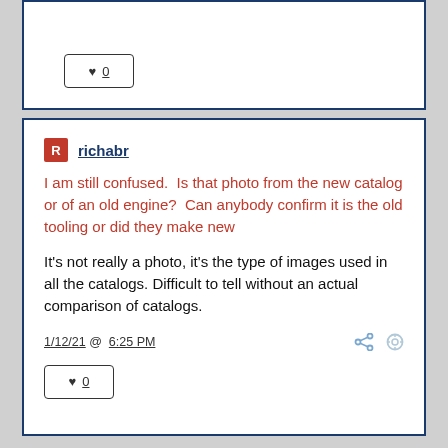[Figure (screenshot): Like button with heart icon showing count 0 (top card, partially visible)]
richabr
I am still confused.  Is that photo from the new catalog or of an old engine?  Can anybody confirm it is the old tooling or did they make new
It's not really a photo, it's the type of images used in all the catalogs. Difficult to tell without an actual comparison of catalogs.
1/12/21 @ 6:25 PM
[Figure (screenshot): Like button with heart icon showing count 0 (main card)]